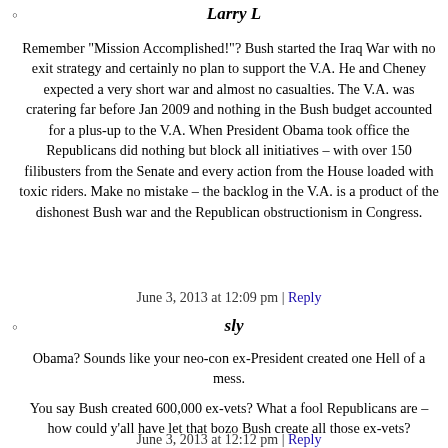Larry L
Remember "Mission Accomplished!"? Bush started the Iraq War with no exit strategy and certainly no plan to support the V.A. He and Cheney expected a very short war and almost no casualties. The V.A. was cratering far before Jan 2009 and nothing in the Bush budget accounted for a plus-up to the V.A. When President Obama took office the Republicans did nothing but block all initiatives – with over 150 filibusters from the Senate and every action from the House loaded with toxic riders. Make no mistake – the backlog in the V.A. is a product of the dishonest Bush war and the Republican obstructionism in Congress.
June 3, 2013 at 12:09 pm | Reply
sly
Obama? Sounds like your neo-con ex-President created one Hell of a mess.
You say Bush created 600,000 ex-vets? What a fool Republicans are – how could y'all have let that bozo Bush create all those ex-vets?
June 3, 2013 at 12:12 pm | Reply